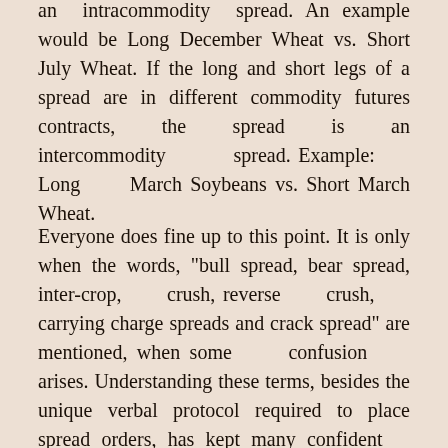an intracommodity spread. An example would be Long December Wheat vs. Short July Wheat. If the long and short legs of a spread are in different commodity futures contracts, the spread is an intercommodity spread. Example: Long March Soybeans vs. Short March Wheat.
Everyone does fine up to this point. It is only when the words, "bull spread, bear spread, inter-crop, crush, reverse crush, carrying charge spreads and crack spread" are mentioned, when some confusion arises. Understanding these terms, besides the unique verbal protocol required to place spread orders, has kept many confident open position traders away from spreading